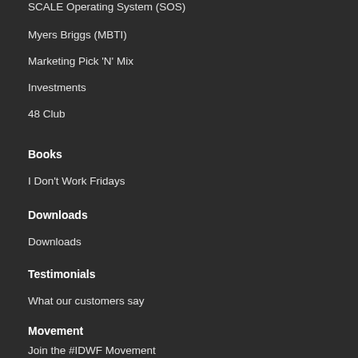SCALE Operating System (SOS)
Myers Briggs (MBTI)
Marketing Pick 'N' Mix
Investments
48 Club
Books
I Don't Work Fridays
Downloads
Downloads
Testimonials
What our customers say
Movement
Join the #IDWF Movement